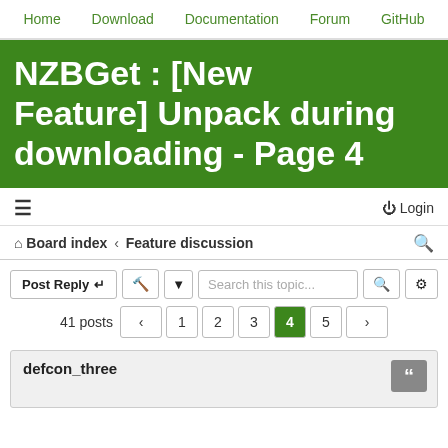Home  Download  Documentation  Forum  GitHub
NZBGet : [New Feature] Unpack during downloading - Page 4
☰  Login
⌂ Board index ‹ Feature discussion
Post Reply  🔧 ▼  Search this topic...  🔍  ⚙
41 posts ‹ 1 2 3 4 5 ›
defcon_three